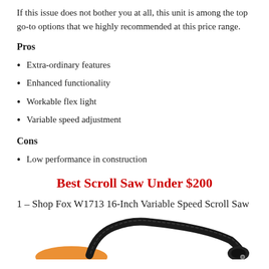If this issue does not bother you at all, this unit is among the top go-to options that we highly recommended at this price range.
Pros
Extra-ordinary features
Enhanced functionality
Workable flex light
Variable speed adjustment
Cons
Low performance in construction
Best Scroll Saw Under $200
1 – Shop Fox W1713 16-Inch Variable Speed Scroll Saw
[Figure (photo): Partial photo of a scroll saw showing a black flexible neck arm and orange base, cropped at the bottom of the page]